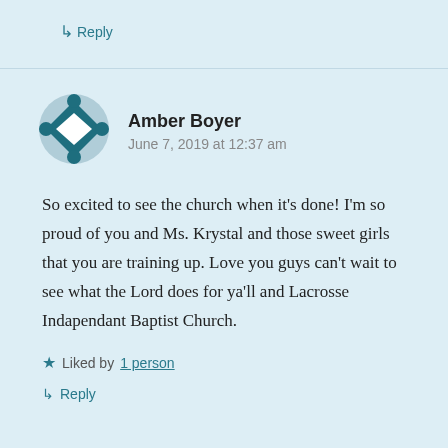↳ Reply
[Figure (illustration): Avatar icon: a diamond/rhombus shape with corner notches forming a geometric circular badge in teal/dark teal color]
Amber Boyer
June 7, 2019 at 12:37 am
So excited to see the church when it's done! I'm so proud of you and Ms. Krystal and those sweet girls that you are training up. Love you guys can't wait to see what the Lord does for ya'll and Lacrosse Indapendant Baptist Church.
★ Liked by 1 person
↳ Reply